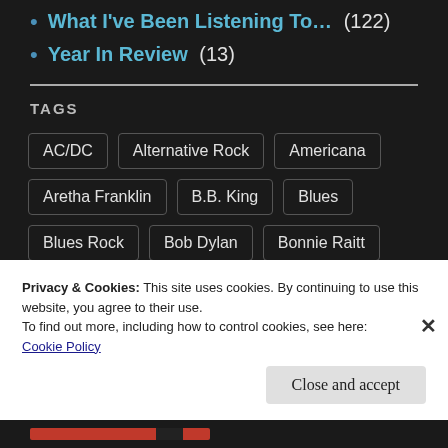What I've Been Listening To… (122)
Year In Review (13)
TAGS
AC/DC
Alternative Rock
Americana
Aretha Franklin
B.B. King
Blues
Blues Rock
Bob Dylan
Bonnie Raitt
Privacy & Cookies: This site uses cookies. By continuing to use this website, you agree to their use.
To find out more, including how to control cookies, see here:
Cookie Policy
Close and accept